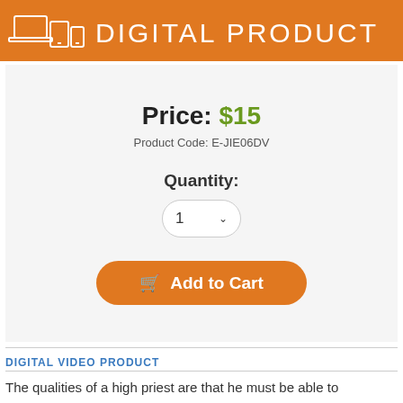[Figure (illustration): Orange banner with white device icons (laptop, tablet, phone) and text 'DIGITAL PRODUCT' in white letters on orange background]
Price: $15
Product Code: E-JIE06DV
Quantity:
1
Add to Cart
DIGITAL VIDEO PRODUCT
The qualities of a high priest are that he must be able to identify with men. The should